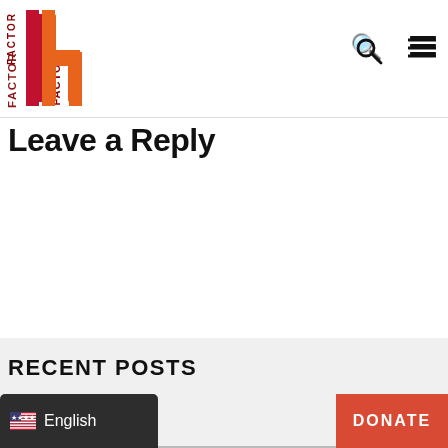Factor H logo, search icon, hamburger menu
Leave a Reply
RECENT POSTS
🇺🇸 English
DONATE